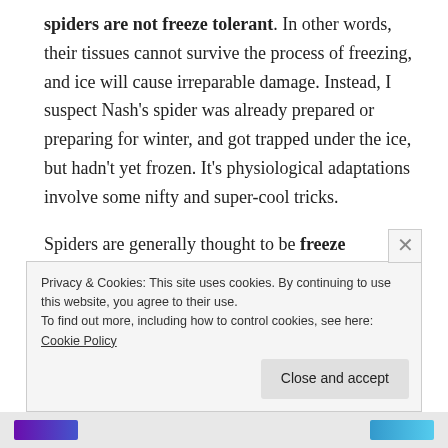spiders are not freeze tolerant. In other words, their tissues cannot survive the process of freezing, and ice will cause irreparable damage. Instead, I suspect Nash's spider was already prepared or preparing for winter, and got trapped under the ice, but hadn't yet frozen. It's physiological adaptations involve some nifty and super-cool tricks.
Spiders are generally thought to be freeze avoidant* (e.g. here's a paper on this), and through the process of accumulating glycols in their blood (i.e., antifreeze), are able to super-cool. This means their internals can remain...
Privacy & Cookies: This site uses cookies. By continuing to use this website, you agree to their use.
To find out more, including how to control cookies, see here: Cookie Policy
[Close and accept]